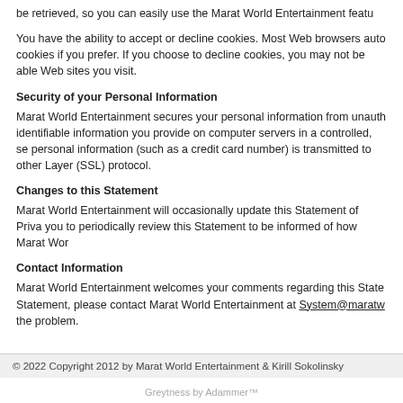be retrieved, so you can easily use the Marat World Entertainment featu... You have the ability to accept or decline cookies. Most Web browsers auto... cookies if you prefer. If you choose to decline cookies, you may not be able... Web sites you visit.
Security of your Personal Information
Marat World Entertainment secures your personal information from unauth... identifiable information you provide on computer servers in a controlled, se... personal information (such as a credit card number) is transmitted to other... Layer (SSL) protocol.
Changes to this Statement
Marat World Entertainment will occasionally update this Statement of Priva... you to periodically review this Statement to be informed of how Marat Wor...
Contact Information
Marat World Entertainment welcomes your comments regarding this State... Statement, please contact Marat World Entertainment at System@maratw... the problem.
© 2022 Copyright 2012 by Marat World Entertainment & Kirill Sokolinsky
Greytness by Adammer™